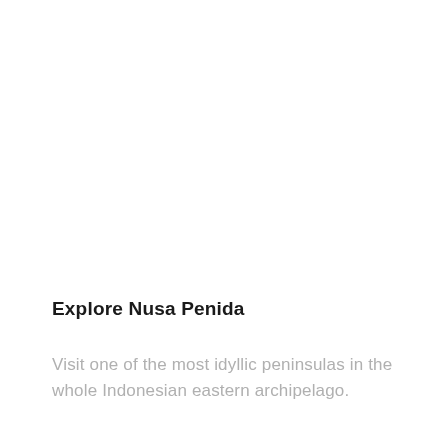Explore Nusa Penida
Visit one of the most idyllic peninsulas in the whole Indonesian eastern archipelago.